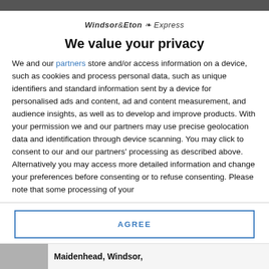Windsor & Eton Express
We value your privacy
We and our partners store and/or access information on a device, such as cookies and process personal data, such as unique identifiers and standard information sent by a device for personalised ads and content, ad and content measurement, and audience insights, as well as to develop and improve products. With your permission we and our partners may use precise geolocation data and identification through device scanning. You may click to consent to our and our partners' processing as described above. Alternatively you may access more detailed information and change your preferences before consenting or to refuse consenting. Please note that some processing of your
AGREE
MORE OPTIONS
Maidenhead, Windsor,